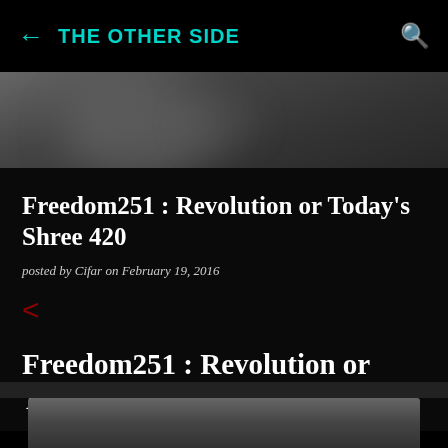THE OTHER SIDE
[Figure (photo): Blurred dark gray background image used as article header]
Freedom251 : Revolution or Today's Shree 420
posted by Cifar on February 19, 2016
<
Freedom251 : Revolution or Today's Shree 420
[Figure (photo): Partially visible dark image at the bottom of the page]